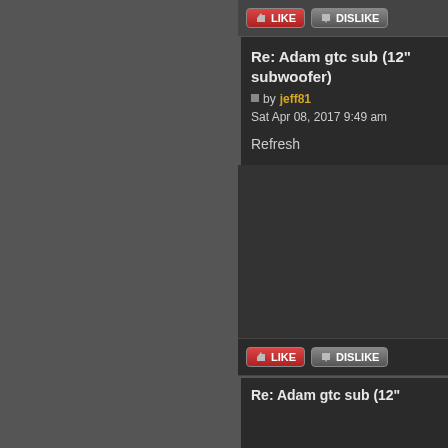[Figure (screenshot): Forum post page showing Like/Dislike buttons and a post titled Re: Adam gtc sub (12" subwoofer) by jeff81, Sat Apr 08, 2017 9:49 am, with content: Refresh]
Re: Adam gtc sub (12" subwoofer)
by jeff81 Sat Apr 08, 2017 9:49 am
Refresh
Re: Adam gtc sub (12"